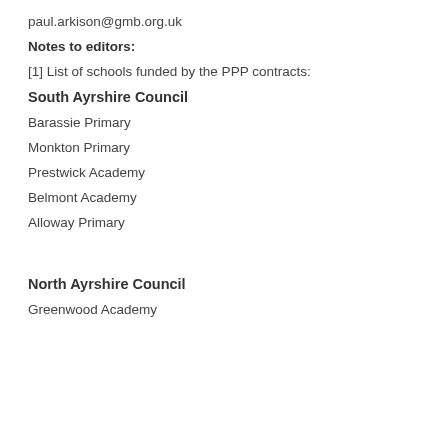paul.arkison@gmb.org.uk
Notes to editors:
[1] List of schools funded by the PPP contracts:
South Ayrshire Council
Barassie Primary
Monkton Primary
Prestwick Academy
Belmont Academy
Alloway Primary
North Ayrshire Council
Greenwood Academy